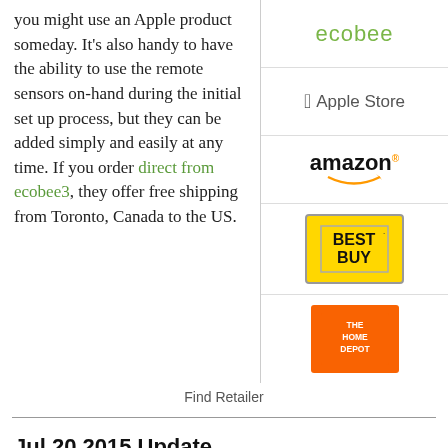you might use an Apple product someday. It's also handy to have the ability to use the remote sensors on-hand during the initial set up process, but they can be added simply and easily at any time. If you order direct from ecobee3, they offer free shipping from Toronto, Canada to the US.
[Figure (logo): ecobee logo in green text]
[Figure (logo): Apple Store logo with Apple icon]
[Figure (logo): Amazon logo with orange arrow]
[Figure (logo): Best Buy yellow badge logo]
[Figure (logo): The Home Depot orange logo]
Find Retailer
Jul 20 2015 Update
It should be noticed that currently:
The Keen home Smart Vent isn't yet shipping, but will be compatible with ZigBee, 6LoWPAN, and Thread, explained